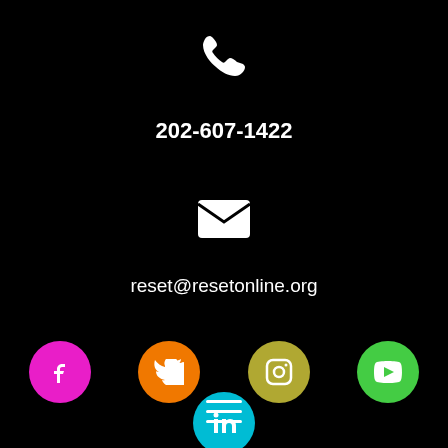[Figure (illustration): White phone handset icon on black background]
202-607-1422
[Figure (illustration): White envelope/email icon on black background]
reset@resetonline.org
[Figure (infographic): Social media icons row: Facebook (magenta circle), Twitter (orange circle), Instagram (olive/yellow circle), YouTube (green circle), and LinkedIn (cyan circle below)]
[Figure (illustration): Hamburger menu icon (three horizontal white lines) at bottom center]